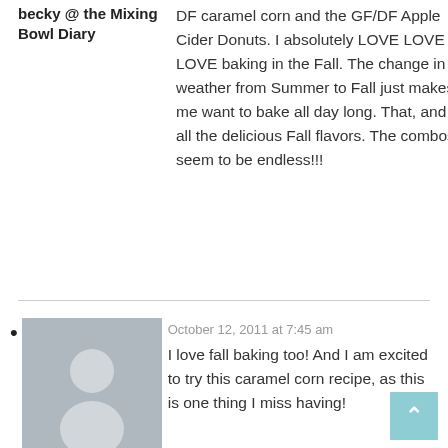becky @ the Mixing Bowl Diary
DF caramel corn and the GF/DF Apple Cider Donuts. I absolutely LOVE LOVE LOVE baking in the Fall. The change in weather from Summer to Fall just makes me want to bake all day long. That, and all the delicious Fall flavors. The combos seem to be endless!!!
October 12, 2011 at 7:45 am
[Figure (illustration): Gray avatar/profile placeholder image with silhouette of a person]
Spring
I love fall baking too! And I am excited to try this caramel corn recipe, as this is one thing I miss having!